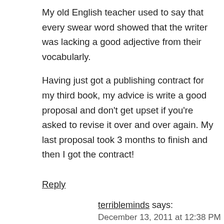My old English teacher used to say that every swear word showed that the writer was lacking a good adjective from their vocabularly.
Having just got a publishing contract for my third book, my advice is write a good proposal and don’t get upset if you’re asked to revise it over and over again. My last proposal took 3 months to finish and then I got the contract!
Reply
terribleminds says:
December 13, 2011 at 12:38 PM